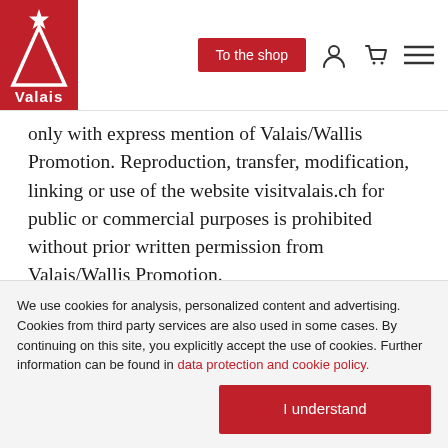Valais / To the shop
only with express mention of Valais/Wallis Promotion. Reproduction, transfer, modification, linking or use of the website visitvalais.ch for public or commercial purposes is prohibited without prior written permission from Valais/Wallis Promotion.

The various names and logos that appear on the website visitvalais.ch are generally registered and protected trademarks. No part of the website visitvalais.ch is
We use cookies for analysis, personalized content and advertising. Cookies from third party services are also used in some cases. By continuing on this site, you explicitly accept the use of cookies. Further information can be found in data protection and cookie policy.